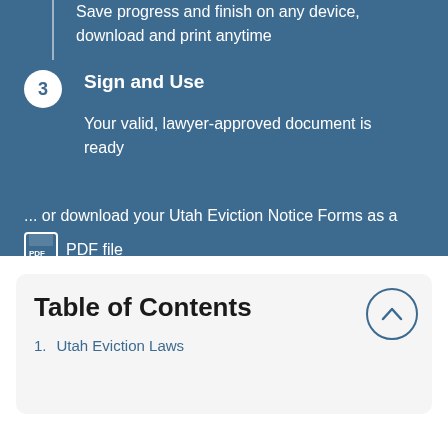Save progress and finish on any device, download and print anytime
3  Sign and Use
Your valid, lawyer-approved document is ready
... or download your Utah Eviction Notice Forms as a PDF file
Table of Contents
1. Utah Eviction Laws